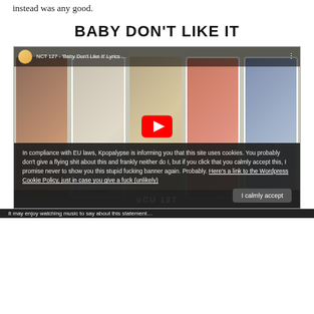instead was any good.
BABY DON'T LIKE IT
[Figure (screenshot): YouTube video thumbnail for NCT 127 'Baby Don't Like It' Lyrics video, showing five K-pop member photo cards (neil, taeyong, center, mark, haechan) with a red YouTube play button overlay and NCT 127 logo text at the bottom, overlaid by an EU cookie compliance banner with 'I calmly accept' button.]
In compliance with EU laws, Kpopalypse is informing you that this site uses cookies. You probably don't give a flying shit about this and frankly neither do I, but if you click that you calmly accept this, I promise never to show you this stupid fucking banner again. Probably. Here's a link to the Wordpress Cookie Policy, just in case you give a fuck (unlikely)
I calmly accept